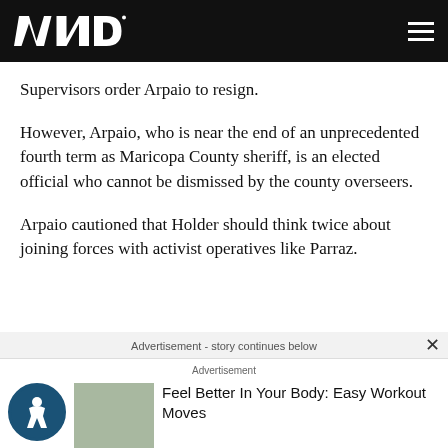WND
Supervisors order Arpaio to resign.
However, Arpaio, who is near the end of an unprecedented fourth term as Maricopa County sheriff, is an elected official who cannot be dismissed by the county overseers.
Arpaio cautioned that Holder should think twice about joining forces with activist operatives like Parraz.
Advertisement - story continues below
Advertisement
Feel Better In Your Body: Easy Workout Moves